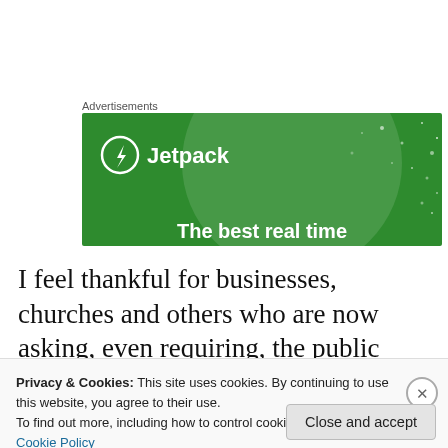Advertisements
[Figure (illustration): Jetpack advertisement banner on green background with circular design element and text 'The best real time...' at the bottom]
I feel thankful for businesses, churches and others who are now asking, even requiring, the public (both vaccinated and unvaccinated) to wear face masks in an
Privacy & Cookies: This site uses cookies. By continuing to use this website, you agree to their use.
To find out more, including how to control cookies, see here: Cookie Policy
Close and accept